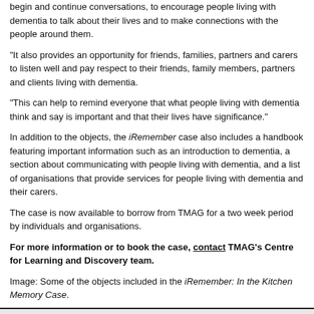begin and continue conversations, to encourage people living with dementia to talk about their lives and to make connections with the people around them.
"It also provides an opportunity for friends, families, partners and carers to listen well and pay respect to their friends, family members, partners and clients living with dementia.
"This can help to remind everyone that what people living with dementia think and say is important and that their lives have significance."
In addition to the objects, the iRemember case also includes a handbook featuring important information such as an introduction to dementia, a section about communicating with people living with dementia, and a list of organisations that provide services for people living with dementia and their carers.
The case is now available to borrow from TMAG for a two week period by individuals and organisations.
For more information or to book the case, contact TMAG's Centre for Learning and Discovery team.
Image: Some of the objects included in the iRemember: In the Kitchen Memory Case.
What's on
TMAG From Home